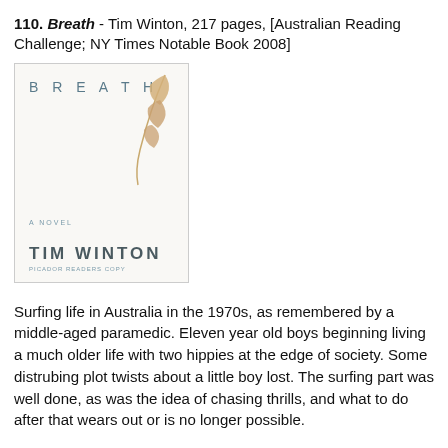110. Breath - Tim Winton, 217 pages, [Australian Reading Challenge; NY Times Notable Book 2008]
[Figure (photo): Book cover of 'Breath' by Tim Winton — white background with the word BREATH in spaced letters at top, a golden/tan plant stem illustration, 'A NOVEL' in small text, and 'TIM WINTON' in large spaced letters at the bottom.]
Surfing life in Australia in the 1970s, as remembered by a middle-aged paramedic. Eleven year old boys beginning living a much older life with two hippies at the edge of society. Some distrubing plot twists about a little boy lost. The surfing part was well done, as was the idea of chasing thrills, and what to do after that wears out or is no longer possible.